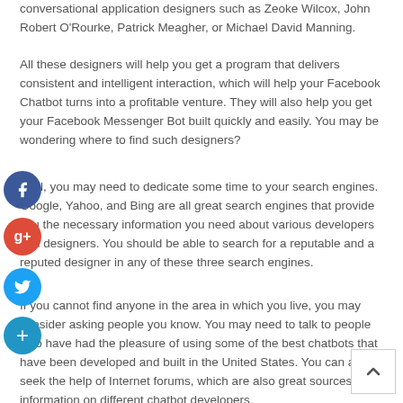conversational application designers such as Zeoke Wilcox, John Robert O'Rourke, Patrick Meagher, or Michael David Manning.
All these designers will help you get a program that delivers consistent and intelligent interaction, which will help your Facebook Chatbot turns into a profitable venture. They will also help you get your Facebook Messenger Bot built quickly and easily. You may be wondering where to find such designers?
Well, you may need to dedicate some time to your search engines. Google, Yahoo, and Bing are all great search engines that provide you the necessary information you need about various developers and designers. You should be able to search for a reputable and a reputed designer in any of these three search engines.
If you cannot find anyone in the area in which you live, you may consider asking people you know. You may need to talk to people who have had the pleasure of using some of the best chatbots that have been developed and built in the United States. You can also seek the help of Internet forums, which are also great sources of information on different chatbot developers.